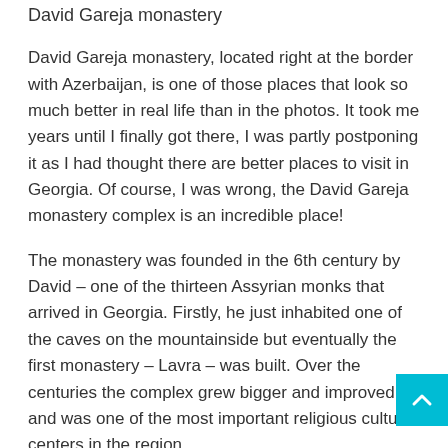David Gareja monastery
David Gareja monastery, located right at the border with Azerbaijan, is one of those places that look so much better in real life than in the photos. It took me years until I finally got there, I was partly postponing it as I had thought there are better places to visit in Georgia. Of course, I was wrong, the David Gareja monastery complex is an incredible place!
The monastery was founded in the 6th century by David – one of the thirteen Assyrian monks that arrived in Georgia. Firstly, he just inhabited one of the caves on the mountainside but eventually the first monastery – Lavra – was built. Over the centuries the complex grew bigger and improved and was one of the most important religious cultural centers in the region.
Due to its location, the place was often a target of